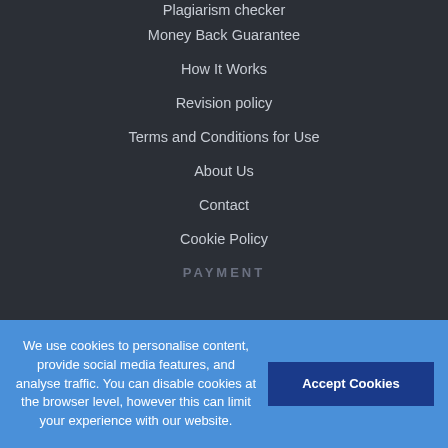Plagiarism checker
Money Back Guarantee
How It Works
Revision policy
Terms and Conditions for Use
About Us
Contact
Cookie Policy
PAYMENT
We use cookies to personalise content, provide social media features, and analyse traffic. You can disable cookies at the browser level, however this can limit your experience with our website.